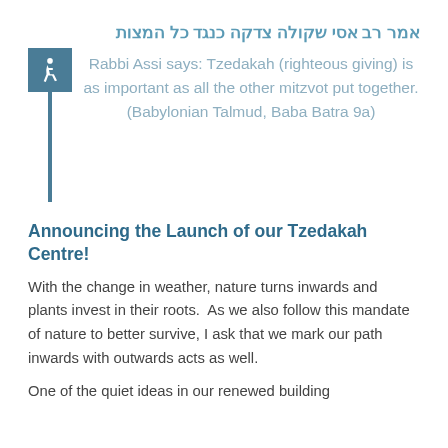אמר רב אסי שקולה צדקה כנגד כל המצות
Rabbi Assi says: Tzedakah (righteous giving) is as important as all the other mitzvot put together. (Babylonian Talmud, Baba Batra 9a)
Announcing the Launch of our Tzedakah Centre!
With the change in weather, nature turns inwards and plants invest in their roots.  As we also follow this mandate of nature to better survive, I ask that we mark our path inwards with outwards acts as well.
One of the quiet ideas in our renewed building